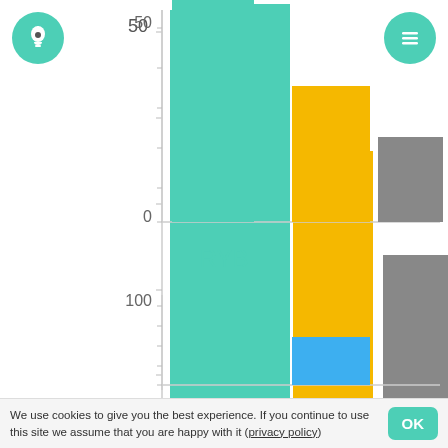[Figure (bar-chart): RYB top chart]
RYB
[Figure (bar-chart): RYB bottom chart]
We use cookies to give you the best experience. If you continue to use this site we assume that you are happy with it (privacy policy)